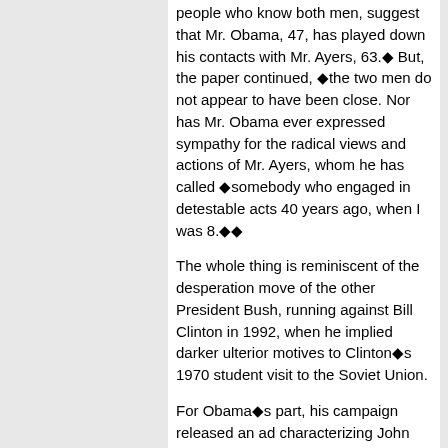people who know both men, suggest that Mr. Obama, 47, has played down his contacts with Mr. Ayers, 63.◆ But, the paper continued, ◆the two men do not appear to have been close. Nor has Mr. Obama ever expressed sympathy for the radical views and actions of Mr. Ayers, whom he has called ◆somebody who engaged in detestable acts 40 years ago, when I was 8.◆◆
The whole thing is reminiscent of the desperation move of the other President Bush, running against Bill Clinton in 1992, when he implied darker ulterior motives to Clinton◆s 1970 student visit to the Soviet Union.
For Obama◆s part, his campaign released an ad characterizing John McCain as ◆erratic,◆ and a 13-minute video revisiting the ◆Keating Five.◆
Sen. McCain, the Obama folks would like you to recall, was one of five United States senators accused in 1989 of using their clout to help bail out Charles Keating, chairman of the failed Lincoln Savings and Loan. All